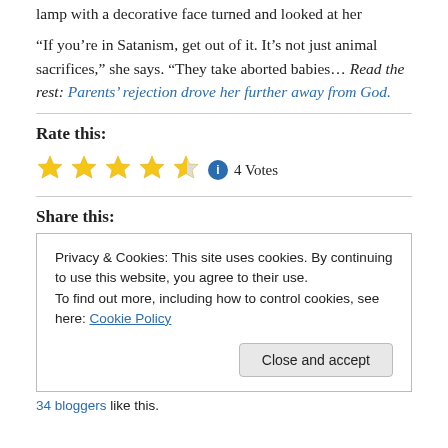lamp with a decorative face turned and looked at her
“If you’re in Satanism, get out of it. It’s not just animal sacrifices,” she says. “They take aborted babies… Read the rest: Parents’ rejection drove her further away from God.
Rate this:
4 Votes
Share this:
Privacy & Cookies: This site uses cookies. By continuing to use this website, you agree to their use.
To find out more, including how to control cookies, see here: Cookie Policy
Close and accept
34 bloggers like this.